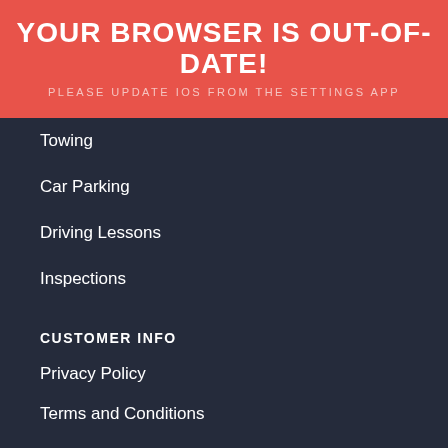YOUR BROWSER IS OUT-OF-DATE!
PLEASE UPDATE IOS FROM THE SETTINGS APP
Towing
Car Parking
Driving Lessons
Inspections
CUSTOMER INFO
Privacy Policy
Terms and Conditions
★★★★½ 4.7 Based on 250 reviews
Let's go!